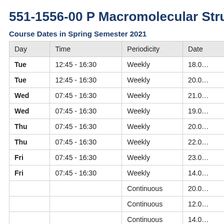551-1556-00 P Macromolecular Struc…
Course Dates in Spring Semester 2021
| Day | Time | Periodicity | Date |
| --- | --- | --- | --- |
| Tue | 12:45 - 16:30 | Weekly | 18.0… |
| Tue | 12:45 - 16:30 | Weekly | 20.0… |
| Wed | 07:45 - 16:30 | Weekly | 21.0… |
| Wed | 07:45 - 16:30 | Weekly | 19.0… |
| Thu | 07:45 - 16:30 | Weekly | 20.0… |
| Thu | 07:45 - 16:30 | Weekly | 22.0… |
| Fri | 07:45 - 16:30 | Weekly | 23.0… |
| Fri | 07:45 - 16:30 | Weekly | 14.0… |
|  |  | Continuous | 20.0… |
|  |  | Continuous | 12.0… |
|  |  | Continuous | 14.0… |
|  |  | Continuous | 04.0… |